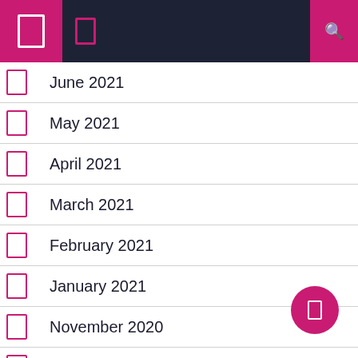Navigation bar with icons
June 2021
May 2021
April 2021
March 2021
February 2021
January 2021
November 2020
October 2020
September 2020
August 2020